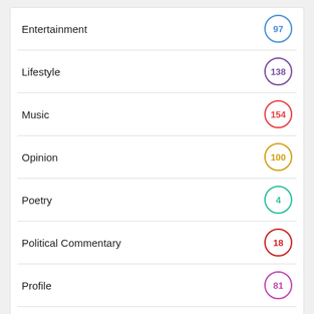Entertainment — 97
Lifestyle — 138
Music — 154
Opinion — 100
Poetry — 4
Political Commentary — 18
Profile — 81
Urban — 26
[Figure (logo): Tha Bravado logo with a black circle containing red text 'BRAII' and floral design, with red text 'THA BRAVADO' below]